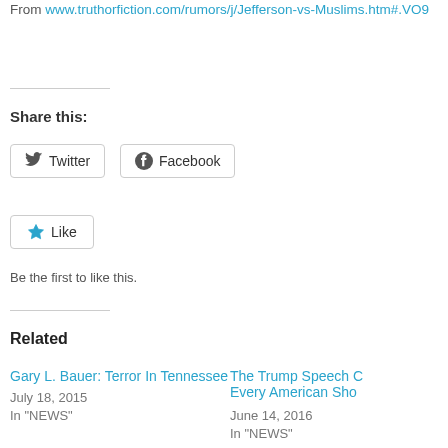From www.truthorfiction.com/rumors/j/Jefferson-vs-Muslims.htm#.VO9...
Share this:
Twitter
Facebook
Like
Be the first to like this.
Related
Gary L. Bauer: Terror In Tennessee
July 18, 2015
In "NEWS"
The Trump Speech C... Every American Sho...
June 14, 2016
In "NEWS"